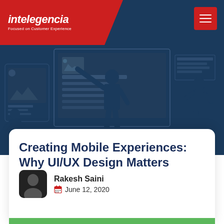intelegencia — Focused on Customer Experience
[Figure (illustration): Hero banner illustration showing silhouettes of people working on UI/UX design on a dark navy blue background with wireframe screens]
Creating Mobile Experiences: Why UI/UX Design Matters
Rakesh Saini
June 12, 2020